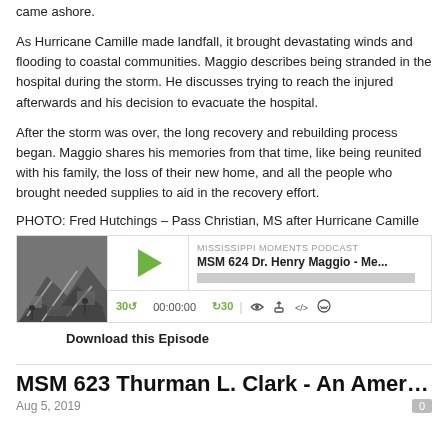came ashore.
As Hurricane Camille made landfall, it brought devastating winds and flooding to coastal communities. Maggio describes being stranded in the hospital during the storm. He discusses trying to reach the injured afterwards and his decision to evacuate the hospital.
After the storm was over, the long recovery and rebuilding process began. Maggio shares his memories from that time, like being reunited with his family, the loss of their new home, and all the people who brought needed supplies to aid in the recovery effort.
PHOTO: Fred Hutchings – Pass Christian, MS after Hurricane Camille
[Figure (screenshot): Podcast player widget for Mississippi Moments Podcast episode MSM 624 Dr. Henry Maggio - Me... showing thumbnail of hurricane damage, play button, progress bar, and playback controls.]
Download this Episode
MSM 623 Thurman L. Clark - An American i...
Aug 5, 2019